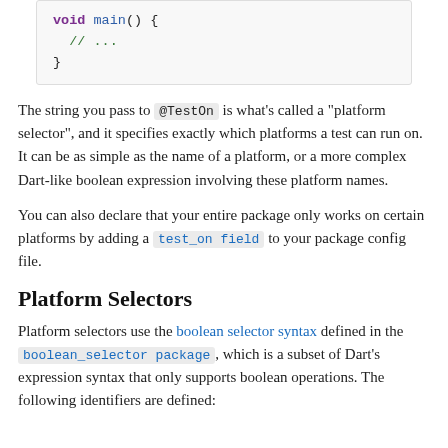[Figure (other): Code block showing: void main() { // ... }]
The string you pass to @TestOn is what's called a "platform selector", and it specifies exactly which platforms a test can run on. It can be as simple as the name of a platform, or a more complex Dart-like boolean expression involving these platform names.
You can also declare that your entire package only works on certain platforms by adding a test_on field to your package config file.
Platform Selectors
Platform selectors use the boolean selector syntax defined in the boolean_selector package, which is a subset of Dart's expression syntax that only supports boolean operations. The following identifiers are defined: